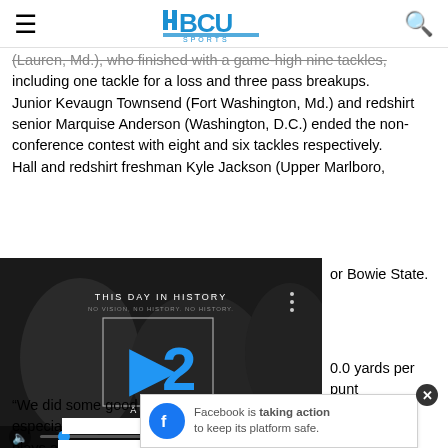HBCU SPORTS
(Lauren, Md.), who finished with a game-high nine tackles, including one tackle for a loss and three pass breakups. Junior Kevaugn Townsend (Fort Washington, Md.) and redshirt senior Marquise Anderson (Washington, D.C.) ended the non-conference contest with eight and six tackles respectively. Hall and redshirt freshman Kyle Jackson (Upper Marlboro, [...]or Bowie State.
[Figure (screenshot): Embedded video player showing 'This Day in History' with date August 12, blue number overlay, play button, progress bar and controls]
0.0 yards per punt yards.
“We did some good things offensively in terms of total yards, especia[...] he hu[ge] plays a[...] amon
[Figure (screenshot): Facebook banner ad: 'Facebook is taking action to keep its platform safe.' with close button]